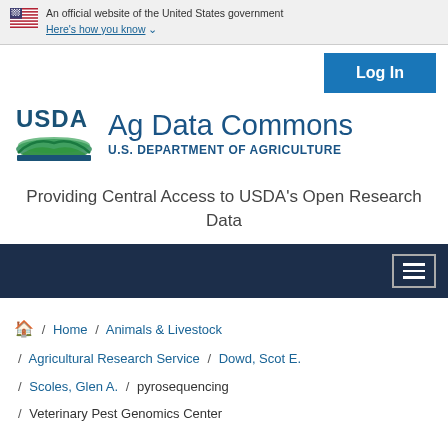An official website of the United States government Here's how you know
Log In
[Figure (logo): USDA logo with green landscape graphic and 'USDA' text in blue]
Ag Data Commons
U.S. DEPARTMENT OF AGRICULTURE
Providing Central Access to USDA's Open Research Data
Home / Animals & Livestock / Agricultural Research Service / Dowd, Scot E. / Scoles, Glen A. / pyrosequencing / Veterinary Pest Genomics Center